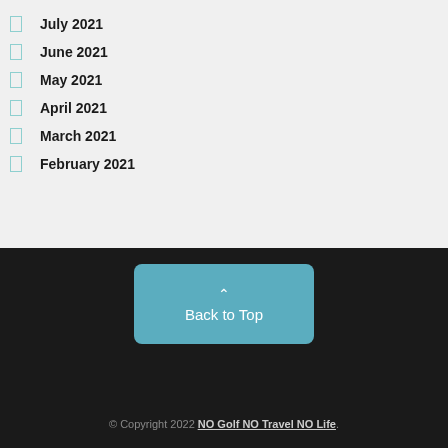July 2021
June 2021
May 2021
April 2021
March 2021
February 2021
Back to Top
© Copyright 2022 NO Golf NO Travel NO Life.